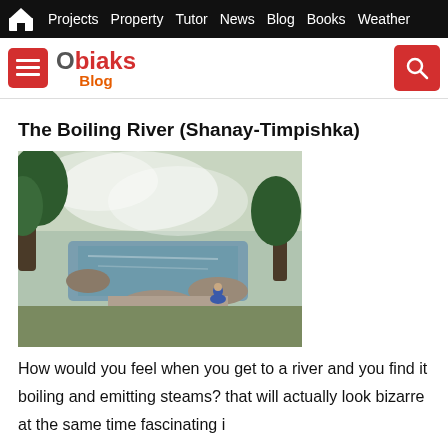Projects  Property  Tutor  News  Blog  Books  Weather
[Figure (logo): Obiaks Blog logo with hamburger menu button and search button]
The Boiling River (Shanay-Timpishka)
[Figure (photo): Photograph of the Boiling River (Shanay-Timpishka) showing steaming hot water flowing over rocks with trees in background and a person sitting by the river edge]
How would you feel when you get to a river and you find it boiling and emitting steams? that will actually look bizarre at the same time fascinating i